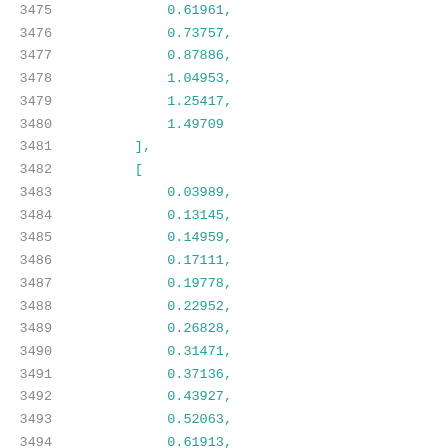3475    0.61961,
3476    0.73757,
3477    0.87886,
3478    1.04953,
3479    1.25417,
3480    1.49709
3481    ],
3482    [
3483    0.03989,
3484    0.13145,
3485    0.14959,
3486    0.17111,
3487    0.19778,
3488    0.22952,
3489    0.26828,
3490    0.31471,
3491    0.37136,
3492    0.43927,
3493    0.52063,
3494    0.61913,
3495    0.73668,